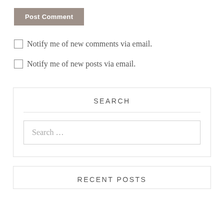Post Comment
Notify me of new comments via email.
Notify me of new posts via email.
SEARCH
Search …
RECENT POSTS